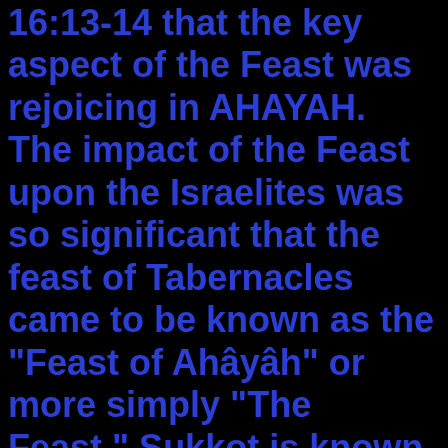16:13-14 that the key aspect of the Feast was rejoicing in AHAYAH. The impact of the Feast upon the Israelites was so significant that the feast of Tabernacles came to be known as the "Feast of Ahâyâh" or more simply "The Feast." Sukkot is known as "The season of our rejoicing", also "the season of our Joy", a fitting